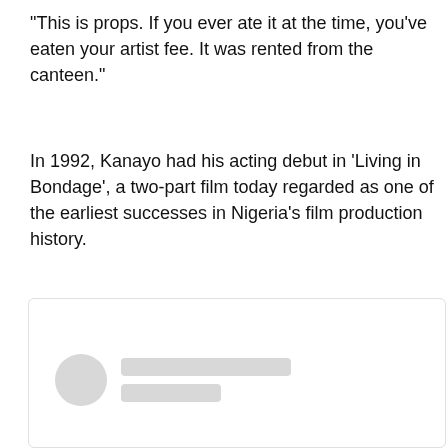“This is props. If you ever ate it at the time, you’ve eaten your artist fee. It was rented from the canteen.”
In 1992, Kanayo had his acting debut in ‘Living in Bondage’, a two-part film today regarded as one of the earliest successes in Nigeria’s film production history.
[Figure (other): A social media or profile card placeholder with a circular avatar (grey circle) and two grey rounded rectangle lines representing a name and subtitle.]